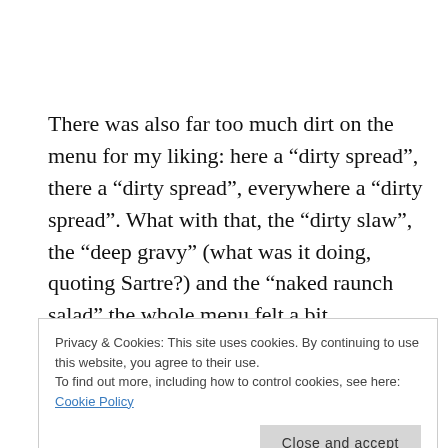There was also far too much dirt on the menu for my liking: here a “dirty spread”, there a “dirty spread”, everywhere a “dirty spread”. What with that, the “dirty slaw”, the “deep gravy” (what was it doing, quoting Sartre?) and the “naked raunch salad” the whole menu felt a bit unnecessarily pornographic. It reminded me of something my friend Tim said when
Privacy & Cookies: This site uses cookies. By continuing to use this website, you agree to their use.
To find out more, including how to control cookies, see here: Cookie Policy
Close and accept
unhygienic. Why would anywhere boast about